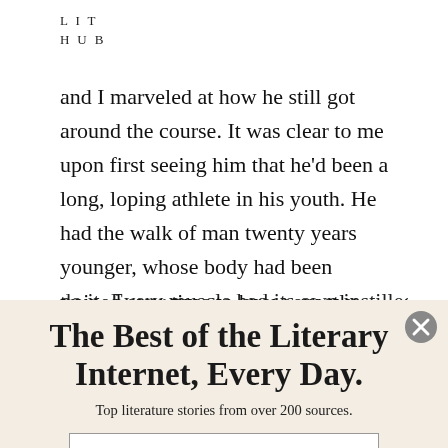LIT
HUB
and I marveled at how he still got around the course. It was clear to me upon first seeing him that he'd been a long, loping athlete in his youth. He had the walk of man twenty years younger, whose body had been trained over time to know exactly what to do and when to
The Best of the Literary Internet, Every Day.
Top literature stories from over 200 sources.
SUBSCRIBE